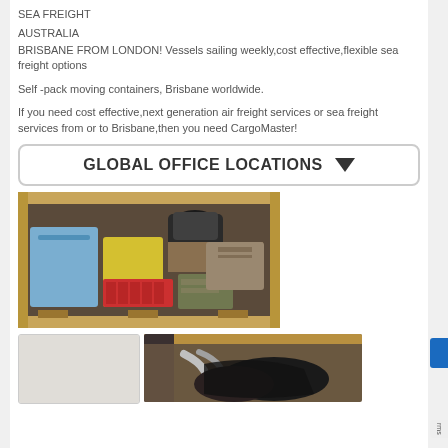SEA FREIGHT
AUSTRALIA
BRISBANE FROM LONDON! Vessels sailing weekly,cost effective,flexible sea freight options
Self -pack moving containers, Brisbane worldwide.
If you need cost effective,next generation air freight services or sea freight services from or to Brisbane,then you need CargoMaster!
[Figure (other): GLOBAL OFFICE LOCATIONS button with dropdown arrow]
[Figure (photo): Photo of packed wooden shipping crate containing various colored bins and boxes including blue, yellow, red crates and suitcases]
[Figure (photo): Partial photo of motorcycle packed in wooden crate]